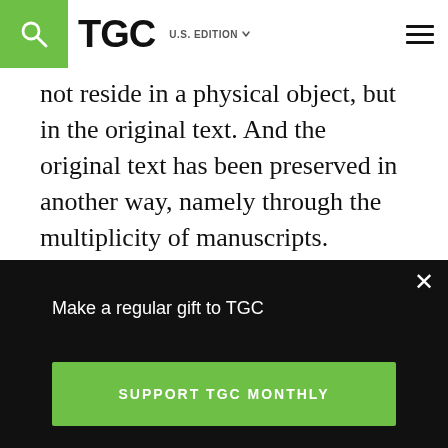TGC — U.S. EDITION
not reside in a physical object, but in the original text. And the original text has been preserved in another way, namely through the multiplicity of manuscripts.
[Figure (photo): Circular headshot of a middle-aged man with salt-and-pepper hair and a beard, on a light grey card background.]
Make a regular gift to TGC
SUPPORT TGC MONTHLY